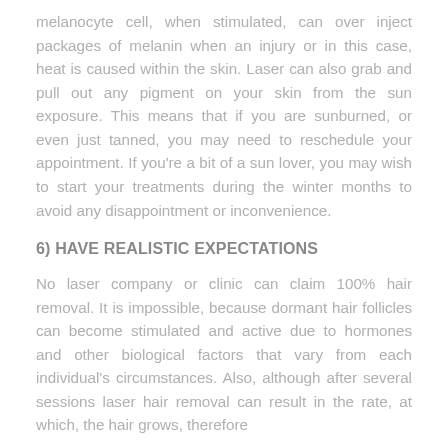melanocyte cell, when stimulated, can over inject packages of melanin when an injury or in this case, heat is caused within the skin. Laser can also grab and pull out any pigment on your skin from the sun exposure. This means that if you are sunburned, or even just tanned, you may need to reschedule your appointment. If you're a bit of a sun lover, you may wish to start your treatments during the winter months to avoid any disappointment or inconvenience.
6) HAVE REALISTIC EXPECTATIONS
No laser company or clinic can claim 100% hair removal. It is impossible, because dormant hair follicles can become stimulated and active due to hormones and other biological factors that vary from each individual's circumstances. Also, although after several sessions laser hair removal can result in the rate, at which, the hair grows, therefore